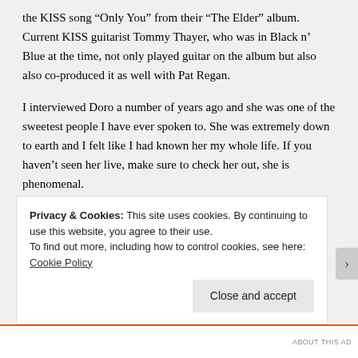the KISS song “Only You” from their “The Elder” album. Current KISS guitarist Tommy Thayer, who was in Black n’ Blue at the time, not only played guitar on the album but also also co-produced it as well with Pat Regan.
I interviewed Doro a number of years ago and she was one of the sweetest people I have ever spoken to. She was extremely down to earth and I felt like I had known her my whole life. If you haven’t seen her live, make sure to check her out, she is phenomenal.
IN THE MEANTIME, CHECK OUT THE VIDEO FOR “IT STILL CUTS”
Privacy & Cookies: This site uses cookies. By continuing to use this website, you agree to their use.
To find out more, including how to control cookies, see here: Cookie Policy
Close and accept